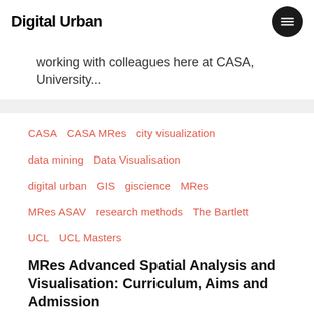Digital Urban
working with colleagues here at CASA, University...
CASA
CASA MRes
city visualization
data mining
Data Visualisation
digital urban
GIS
giscience
MRes
MRes ASAV
research methods
The Bartlett
UCL
UCL Masters
MRes Advanced Spatial Analysis and Visualisation: Curriculum, Aims and Admission